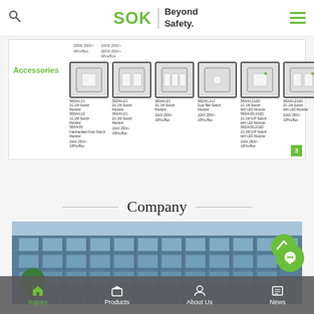SOK | Beyond Safety.
Accessories
200W 250V~ 6Pcs/Box | 100W 250V~ 360W 250V~ 6Pcs/Box
[Figure (photo): Six electrical switch modular accessories shown in a row: S82/A/L1/1, S82/A/L2/1, S82/A/L3/1, S82/A/L1/L1, S82/A/L1/LED, S82/A/L2/LED]
S82/A/L1/1 1G 1W Switch Modular; S82/A/L1/2 1G 2W Switch Modular; S82/A/3S Intermediate Knob Switch Modular | S82/A/L2/1 2G 1W Switch Modular; S82/A/L2/1 2G 2W Switch Modular | S82/A/L3/1 3G 1W Switch Modular | S82/A/L1/L1 Door Bell Switch Modular | S82/A/L1/LED 1G 1W Switch with LED Modular; S82/A/20L1/LED 1G 1W D/P Switch with LED Modular; S82/A/20L2/LED 1G 2W D/P Switch with LED Modular | S82/A/L2/LED 2G 1W Switch with LED Modular
10AX 250V~ 10Pcs/Box | 10AX 250V~ 10Pcs/Box | 10AX 250V~ 10Pcs/Box | 10AX 250V~ 10Pcs/Box | 10AX 250V~ 10Pcs/Box | 10AX 250V~ 10Pcs/Box
3
Company
[Figure (photo): Modern glass office building exterior photo with multiple floors of windows, trees visible on the left side]
Inquiry | Products | About Us | News